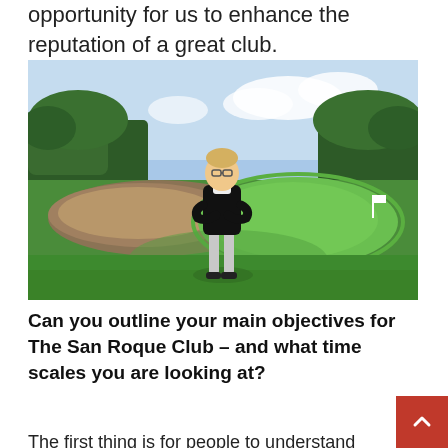opportunity for us to enhance the reputation of a great club.
[Figure (photo): A man with arms crossed standing on a golf course fairway with a putting green, water hazard, and trees in the background. Bright sunny day.]
Can you outline your main objectives for The San Roque Club – and what time scales you are looking at?
The first thing is for people to understand